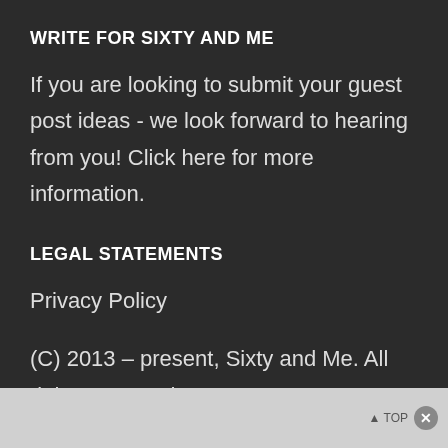WRITE FOR SIXTY AND ME
If you are looking to submit your guest post ideas - we look forward to hearing from you! Click here for more information.
LEGAL STATEMENTS
Privacy Policy
(C) 2013 – present, Sixty and Me. All rights reserved.
▲ TOP ✕